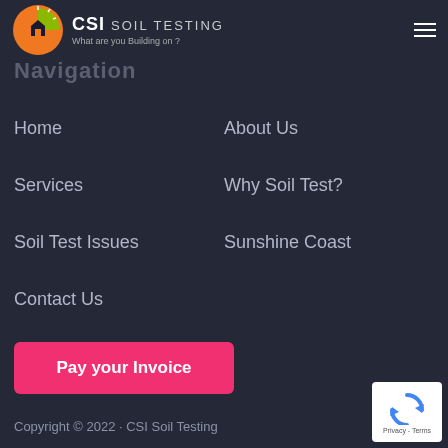[Figure (logo): CSI Soil Testing logo with orange/green circular icon, bold CSI text and SOIL TESTING subtitle, tagline 'What are you Building on?']
Navigation
Home
About Us
Services
Why Soil Test?
Soil Test Issues
Sunshine Coast
Contact Us
Pay your Invoice
Copyright © 2022 · CSI Soil Testing